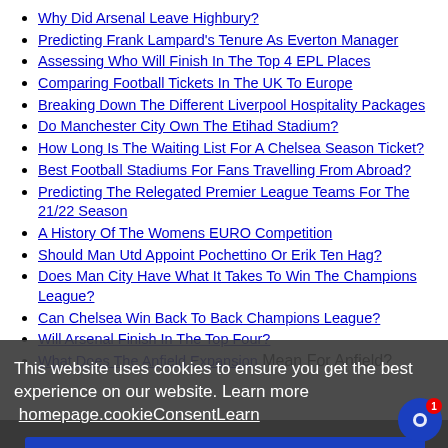Why Did Arsenal Leave Highbury?
Predicting Frank Lampard's Tenure As Everton Manager
Assessing Who Will Finish In The Top 4 EPL Places
Comparing Football Tickets In The UK To Europe
Breaking Down The Different Liverpool Hospitality Packages
Do Manchester City Own The Etihad Stadium?
How Long Is The Waiting List For A Chelsea Season Ticket?
Best Football Stadiums For Fans Travelling From Abroad?
Predicting The Relegated Premier League Teams For The 21/22 Season
A History Of The Womens EURO Competition
Should Man Utd Appoint Pochettino Or Erik Ten Hag?
Does Man City Have What It Takes To Win The Champions League?
Can Chelsea Win Back To Back Champions League?
Will Arsenal Finish In The Top Four?
What Does The Anfield Expansion Mean For Anfield?
This website uses cookies to ensure you get the best experience on our website. Learn more homepage.cookieConsentLearn
homepage.cookieConsentDismiss